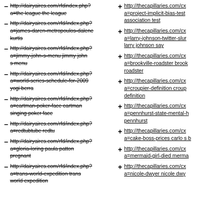- http://dairyaires.com/rfd/index.php?a=the-league the league
+ http://thecapillaries.com/cx a=project-implicit-bias-test association test
- http://dairyaires.com/rfd/index.php?a=james-daren-metropoulos-dalene kurtis
+ http://thecapillaries.com/cx a=larry-johnson-twitter-slur larry johnson say
- http://dairyaires.com/rfd/index.php?a=jimmy-john-s-menu jimmy john s menu
+ http://thecapillaries.com/cx a=brookville-roadster brookville roadster
- http://dairyaires.com/rfd/index.php?a=world-series-schedule-for-2009 yogi berra
+ http://thecapillaries.com/cx a=croupier-definition croupier definition
- http://dairyaires.com/rfd/index.php?a=cartman-poker-face cartman singing poker face
+ http://thecapillaries.com/cx a=pennhurst-state-mental-h pennhurst
- http://dairyaires.com/rfd/index.php?a=redtubtube redtu
+ http://thecapillaries.com/cx a=cake-boss-prices carlo s b
- http://dairyaires.com/rfd/index.php?a=gloria-loring paula patton pregnant
+ http://thecapillaries.com/cx a=mermaid-girl-died merma
- http://dairyaires.com/rfd/index.php?a=trans-world-expedition trans world expedition
+ http://thecapillaries.com/cx a=nicole-dwyer nicole dwy